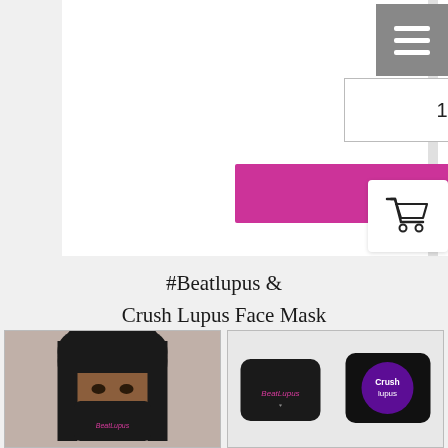$4.00
Qty
1
Add to cart
#Beatlupus & Crush Lupus Face Mask
[Figure (photo): Woman wearing a black BeatLupus face mask]
[Figure (photo): Two black face masks showing BeatLupus and Crush Lupus logos]